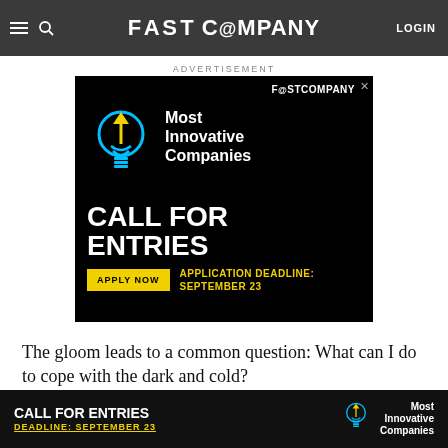FAST COMPANY — LOGIN
battling foul weather. Thanks to daylight saving time there will be no darkness after wo...
ADVERTISEMENT
[Figure (infographic): Fast Company advertisement for Most Innovative Companies — Call for Entries. Features a light bulb illustration with upward arrow. Black background with white and yellow text. Apply Now button with application deadline September 23.]
The gloom leads to a common question: What can I do to cope with the dark and cold?
[Figure (infographic): Sticky bottom banner ad: CALL FOR ENTRIES, DEADLINE: SEPTEMBER 23, Most Innovative Companies with light bulb icon. Dark background.]